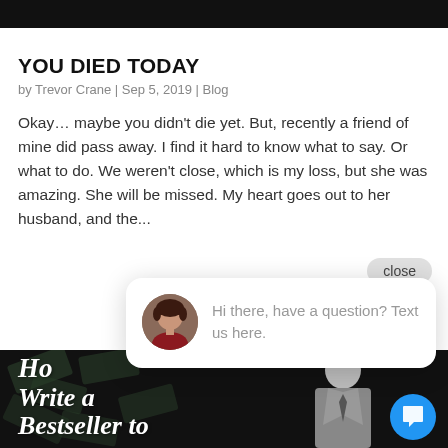[Figure (other): Black header bar at top of page]
YOU DIED TODAY
by Trevor Crane | Sep 5, 2019 | Blog
Okay… maybe you didn't die yet. But, recently a friend of mine did pass away. I find it hard to know what to say. Or what to do. We weren't close, which is my loss, but she was amazing. She will be missed. My heart goes out to her husband, and the...
[Figure (screenshot): Chat popup with close button. Shows avatar of a woman and text: Hi there, have a question? Text us here.]
[Figure (photo): Book cover image with text 'How to Write a Bestseller to' on dark background with money/bills and man in suit silhouette. Blue chat bubble button in bottom right corner.]